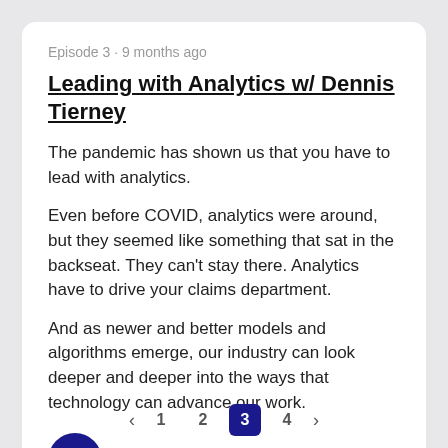Episode 3 · 9 months ago
Leading with Analytics w/ Dennis Tierney
The pandemic has shown us that you have to lead with analytics.
Even before COVID, analytics were around, but they seemed like something that sat in the backseat. They can't stay there. Analytics have to drive your claims department.
And as newer and better models and algorithms emerge, our industry can look deeper and deeper into the ways that technology can advance our work.
[Figure (infographic): Dark blue circular play button with white triangle pointing right, followed by bold text LISTEN NOW and a share/forward arrow icon on the right]
< 1 2 3 4 >